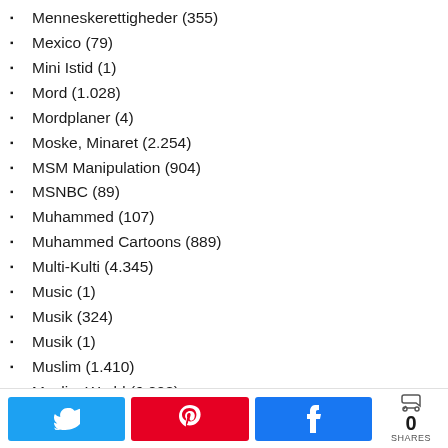Menneskerettigheder (355)
Mexico (79)
Mini Istid (1)
Mord (1.028)
Mordplaner (4)
Moske, Minaret (2.254)
MSM Manipulation (904)
MSNBC (89)
Muhammed (107)
Muhammed Cartoons (889)
Multi-Kulti (4.345)
Music (1)
Musik (324)
Musik (1)
Muslim (1.410)
Muslim World (6.008)
Muslimsk Forfølgelsesvanvid (17)
Muslimsk Had Til Jøder (23)
[Figure (infographic): Social share bar with Twitter (blue), Pinterest (red), Facebook (blue) buttons and a share count of 0 SHARES]